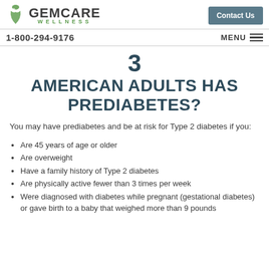GEMCARE WELLNESS | Contact Us | 1-800-294-9176 | MENU
3 AMERICAN ADULTS HAS PREDIABETES?
You may have prediabetes and be at risk for Type 2 diabetes if you:
Are 45 years of age or older
Are overweight
Have a family history of Type 2 diabetes
Are physically active fewer than 3 times per week
Were diagnosed with diabetes while pregnant (gestational diabetes) or gave birth to a baby that weighed more than 9 pounds